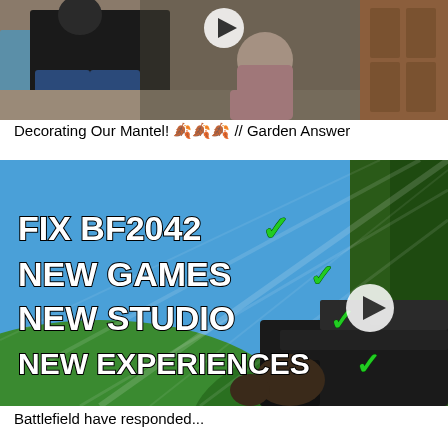[Figure (screenshot): Video thumbnail showing an adult and a baby sitting on a floor indoors, with a play button overlay in the center top area.]
Decorating Our Mantel! 🍂🍂🍂 // Garden Answer
[Figure (screenshot): Video thumbnail showing a first-person shooter game (Battlefield 2042) with text overlay reading: FIX BF2042, NEW GAMES, NEW STUDIO, NEW EXPERIENCES, all with green checkmarks, and a play button overlay.]
Battlefield have responded...